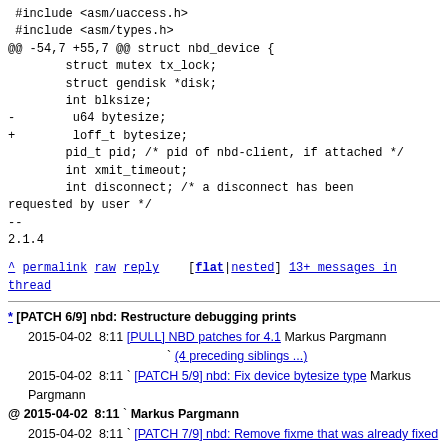#include <asm/uaccess.h>
#include <asm/types.h>
@@ -54,7 +55,7 @@ struct nbd_device {
        struct mutex tx_lock;
        struct gendisk *disk;
        int blksize;
-        u64 bytesize;
+        loff_t bytesize;
        pid_t pid; /* pid of nbd-client, if attached */
        int xmit_timeout;
        int disconnect; /* a disconnect has been requested by user */
--
2.1.4
^ permalink raw reply  [flat|nested] 13+ messages in thread
* [PATCH 6/9] nbd: Restructure debugging prints
  2015-04-02  8:11 [PULL] NBD patches for 4.1 Markus Pargmann
                   ` (4 preceding siblings ...)
  2015-04-02  8:11 ` [PATCH 5/9] nbd: Fix device bytesize type Markus Pargmann
@ 2015-04-02  8:11 ` Markus Pargmann
  2015-04-02  8:11 ` [PATCH 7/9] nbd: Remove fixme that was already fixed Markus Pargmann
                   ` (3 subsequent siblings)